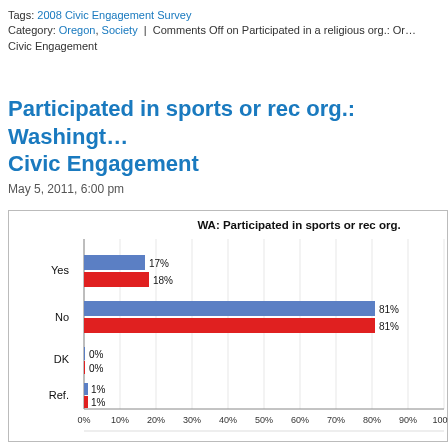Tags: 2008 Civic Engagement Survey
Category: Oregon, Society | Comments Off on Participated in a religious org.: Or...
Civic Engagement
Participated in sports or rec org.: Washington Civic Engagement
May 5, 2011, 6:00 pm
[Figure (grouped-bar-chart): WA: Participated in sports or rec org.]